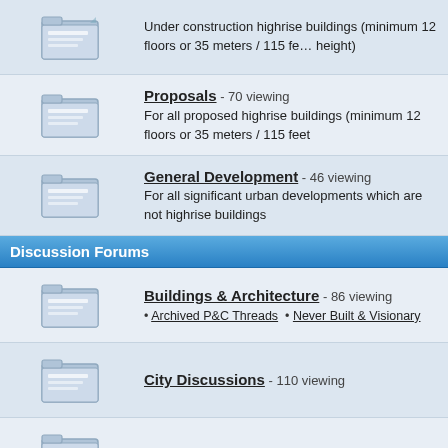Under construction highrise buildings (minimum 12 floors or 35 meters / 115 feet height)
Proposals - 70 viewing
For all proposed highrise buildings (minimum 12 floors or 35 meters / 115 feet
General Development - 46 viewing
For all significant urban developments which are not highrise buildings
Discussion Forums
Buildings & Architecture - 86 viewing
• Archived P&C Threads  • Never Built & Visionary
City Discussions - 110 viewing
Transportation - 27 viewing
Engineering - 7 viewing
Photography Forums
My City Photos - 90 viewing
Urban related photos taken by the thread starter.